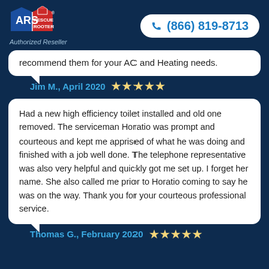[Figure (logo): ARS Rescue Rooter logo with 'Authorized Reseller' text below]
(866) 819-8713
recommend them for your AC and Heating needs.
Jim M., April 2020 ★★★★★
Had a new high efficiency toilet installed and old one removed. The serviceman Horatio was prompt and courteous and kept me apprised of what he was doing and finished with a job well done. The telephone representative was also very helpful and quickly got me set up. I forget her name. She also called me prior to Horatio coming to say he was on the way. Thank you for your courteous professional service.
Thomas G., February 2020 ★★★★★